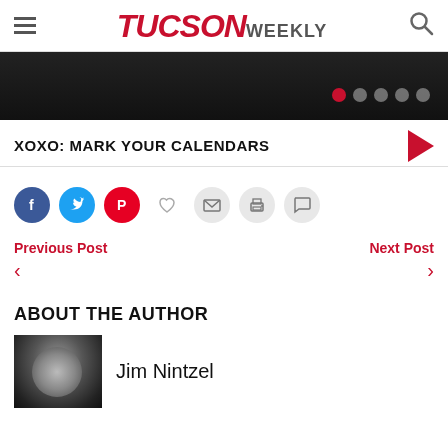TUCSON WEEKLY
[Figure (photo): Dark banner image showing arms/hands, with carousel indicator dots on the right side]
XOXO: MARK YOUR CALENDARS
[Figure (infographic): Social sharing icons: Facebook (blue circle), Twitter (blue circle), Pinterest (red circle), Heart/like (gray), Email (gray circle), Print (gray circle), Comment (gray circle)]
Previous Post
Next Post
ABOUT THE AUTHOR
[Figure (photo): Black and white headshot photo of Jim Nintzel]
Jim Nintzel